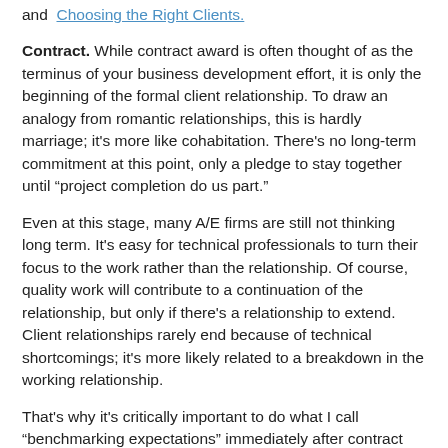and Choosing the Right Clients.
Contract. While contract award is often thought of as the terminus of your business development effort, it is only the beginning of the formal client relationship. To draw an analogy from romantic relationships, this is hardly marriage; it's more like cohabitation. There's no long-term commitment at this point, only a pledge to stay together until "project completion do us part."
Even at this stage, many A/E firms are still not thinking long term. It's easy for technical professionals to turn their focus to the work rather than the relationship. Of course, quality work will contribute to a continuation of the relationship, but only if there's a relationship to extend. Client relationships rarely end because of technical shortcomings; it's more likely related to a breakdown in the working relationship.
That's why it's critically important to do what I call "benchmarking expectations" immediately after contract award (if not before). This involves mutually defining what is expected in terms of the working relationship. For more